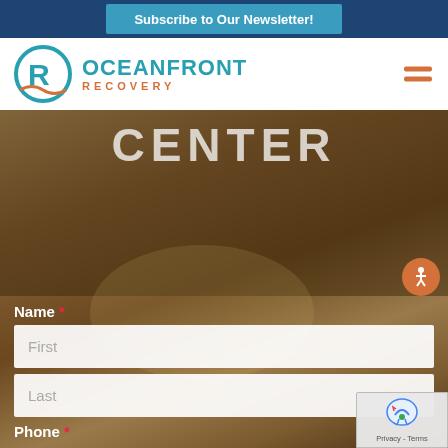Subscribe to Our Newsletter!
[Figure (logo): Oceanfront Recovery logo with circular R icon in teal/orange colors]
CENTER
[Figure (photo): Background photo of people embracing, warm earthy tones]
Name *
First
Last
Phone *
[Figure (other): reCAPTCHA badge with Privacy and Terms links]